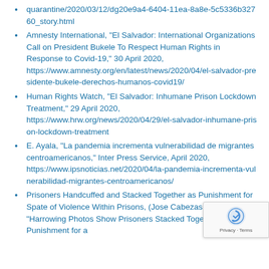quarantine/2020/03/12/dg20e9a4-6404-11ea-8a8e-5c5336b32760_story.html
Amnesty International, "El Salvador: International Organizations Call on President Bukele To Respect Human Rights in Response to Covid-19," 30 April 2020, https://www.amnesty.org/en/latest/news/2020/04/el-salvador-presidente-bukele-derechos-humanos-covid19/
Human Rights Watch, "El Salvador: Inhumane Prison Lockdown Treatment," 29 April 2020, https://www.hrw.org/news/2020/04/29/el-salvador-inhumane-prison-lockdown-treatment
E. Ayala, "La pandemia incrementa vulnerabilidad de migrantes centroamericanos," Inter Press Service, April 2020, https://www.ipsnoticias.net/2020/04/la-pandemia-incrementa-vulnerabilidad-migrantes-centroamericanos/
Prisoners Handcuffed and Stacked Together as Punishment for Spate of Violence Within Prisons, (Jose Cabezas, Reuters, "Harrowing Photos Show Prisoners Stacked Together as Punishment for a